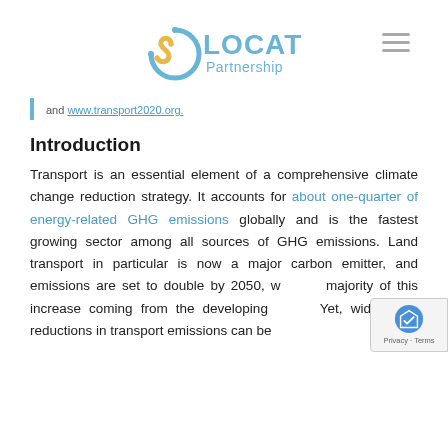SLOCAT Partnership
and www.transport2020.org.
Introduction
Transport is an essential element of a comprehensive climate change reduction strategy. It accounts for about one-quarter of energy-related GHG emissions globally and is the fastest growing sector among all sources of GHG emissions. Land transport in particular is now a major carbon emitter, and emissions are set to double by 2050, with the majority of this increase coming from the developing world. Yet, wide scale reductions in transport emissions can be